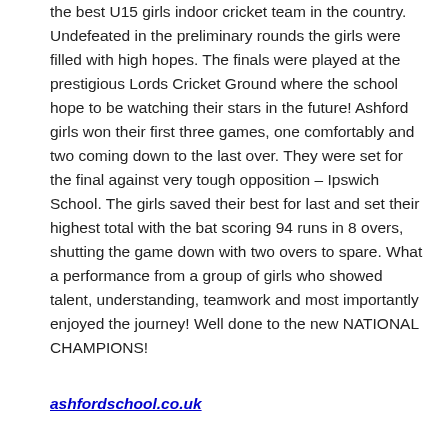the best U15 girls indoor cricket team in the country. Undefeated in the preliminary rounds the girls were filled with high hopes. The finals were played at the prestigious Lords Cricket Ground where the school hope to be watching their stars in the future! Ashford girls won their first three games, one comfortably and two coming down to the last over. They were set for the final against very tough opposition – Ipswich School. The girls saved their best for last and set their highest total with the bat scoring 94 runs in 8 overs, shutting the game down with two overs to spare. What a performance from a group of girls who showed talent, understanding, teamwork and most importantly enjoyed the journey! Well done to the new NATIONAL CHAMPIONS!
ashfordschool.co.uk